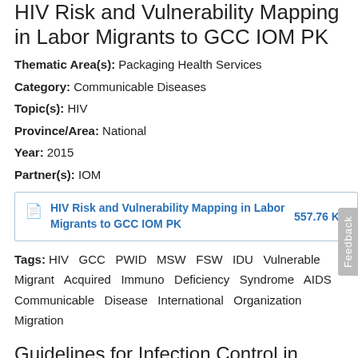HIV Risk and Vulnerability Mapping in Labor Migrants to GCC IOM PK
Thematic Area(s): Packaging Health Services
Category: Communicable Diseases
Topic(s): HIV
Province/Area: National
Year: 2015
Partner(s): IOM
HIV Risk and Vulnerability Mapping in Labor Migrants to GCC IOM PK  557.76 KB
Tags: HIV GCC PWID MSW FSW IDU Vulnerable Migrant Acquired Immuno Deficiency Syndrome AIDS Communicable Disease International Organization Migration
Guidelines for Infection Control in Nursery NICU TRF 2011.pdf
Thematic Area(s): Packaging Health Services
Category: Communicable Diseases